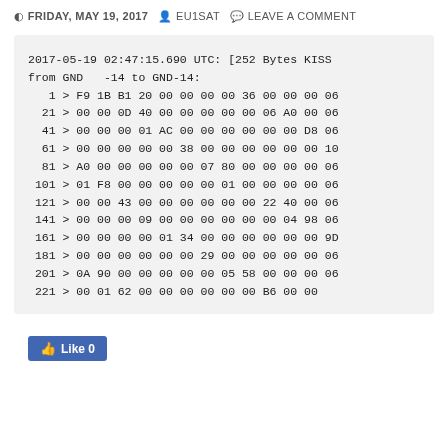FRIDAY, MAY 19, 2017  EU1SAT  LEAVE A COMMENT
2017-05-19 02:47:15.690 UTC: [252 Bytes KISS from GND   -14 to GND-14:
   1 > F9 1B B1 20 00 00 00 00 36 00 00 00 06
  21 > 00 00 0D 40 00 00 00 00 00 06 A0 00 06
  41 > 00 00 00 01 AC 00 00 00 00 00 00 D8 06
  61 > 00 00 00 00 00 38 00 00 00 00 00 00 10
  81 > A0 00 00 00 00 00 07 80 00 00 00 00 06
 101 > 01 F8 00 00 00 00 00 01 00 00 00 00 06
 121 > 00 00 43 00 00 00 00 00 00 22 40 00 06
 141 > 00 00 00 09 00 00 00 00 00 00 04 98 06
 161 > 00 00 00 00 01 34 00 00 00 00 00 00 9D
 181 > 00 00 00 00 00 00 29 00 00 00 00 00 06
 201 > 0A 90 00 00 00 00 00 05 58 00 00 00 06
 221 > 00 01 62 00 00 00 00 00 00 B6 00 00
Like 0